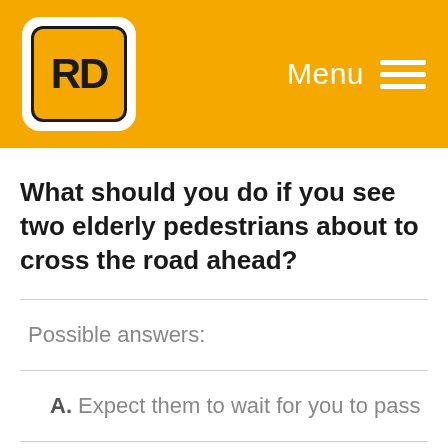[Figure (logo): RD logo — yellow rounded rectangle with black border containing bold black RD letters on yellow background, set on orange header bar with white Menu text and hamburger icon]
What should you do if you see two elderly pedestrians about to cross the road ahead?
Possible answers:
A. Expect them to wait for you to pass
B. Speed up to get past them quickly